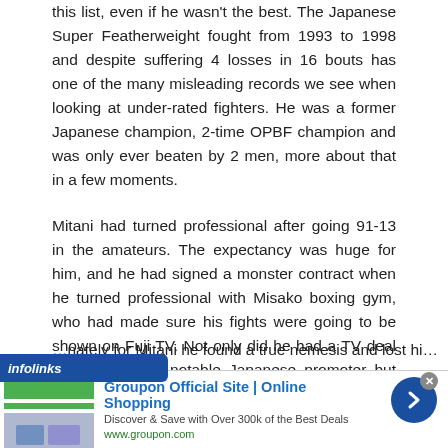this list, even if he wasn't the best. The Japanese Super Featherweight fought from 1993 to 1998 and despite suffering 4 losses in 16 bouts has one of the many misleading records we see when looking at under-rated fighters. He was a former Japanese champion, 2-time OPBF champion and was only ever beaten by 2 men, more about that in a few moments.
Mitani had turned professional after going 91-13 in the amateurs. The expectancy was huge for him, and he had signed a monster contract when he turned professional with Misako boxing gym, who had made sure his fights were going to be shown on Fuji TV. Not only did he had a TV deal early on and a notable Japanese promoter but was also matched up with former world champion Tadashi Mihara. Everything seemed to be behind Mitani being a star.
…nately for Mitani he found a true nemesis and lost hi…
[Figure (infographic): Infolinks branding bar and Groupon advertisement banner with close button, arrow button, and ad images]